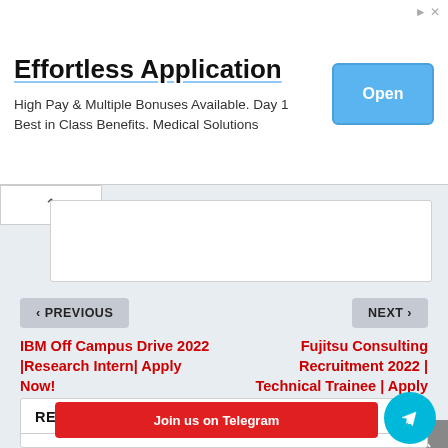[Figure (screenshot): Advertisement banner: 'Effortless Application' with subtitle 'High Pay & Multiple Bonuses Available. Day 1 Best in Class Benefits. Medical Solutions' and a blue 'Open' button]
< PREVIOUS
NEXT >
IBM Off Campus Drive 2022 |Research Intern| Apply Now!
Fujitsu Consulting Recruitment 2022 | Technical Trainee | Apply Now
RELATED POSTS
Join us on Telegram